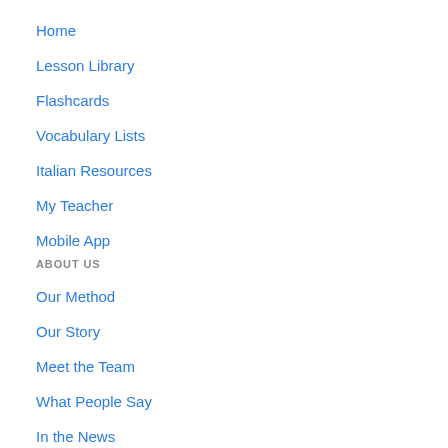Home
Lesson Library
Flashcards
Vocabulary Lists
Italian Resources
My Teacher
Mobile App
ABOUT US
Our Method
Our Story
Meet the Team
What People Say
In the News
Languages We Teach
Schools & Businesses